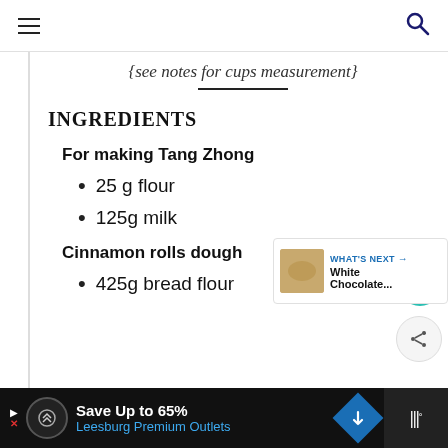{see notes for cups measurement}
INGREDIENTS
For making Tang Zhong
25 g flour
125g milk
Cinnamon rolls dough
425g bread flour
Save Up to 65% Leesburg Premium Outlets